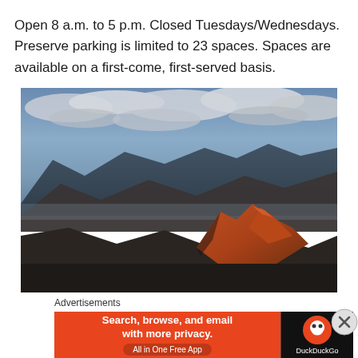Open 8 a.m. to 5 p.m. Closed Tuesdays/Wednesdays. Preserve parking is limited to 23 spaces. Spaces are available on a first-come, first-served basis.
[Figure (photo): Landscape photo of rugged mountains at sunset with dramatic clouds in a blue-grey sky. Rocky peaks in the foreground are illuminated with warm orange-red light.]
Advertisements
[Figure (screenshot): DuckDuckGo advertisement banner: orange background with text 'Search, browse, and email with more privacy. All in One Free App' and DuckDuckGo logo on black background.]